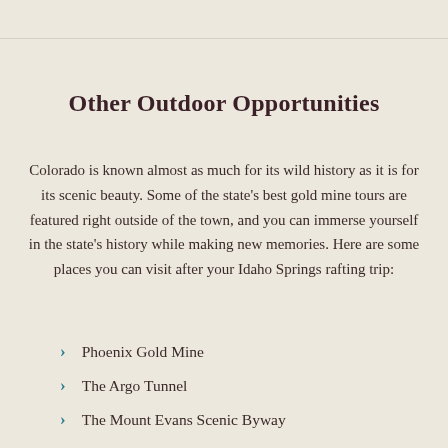Other Outdoor Opportunities
Colorado is known almost as much for its wild history as it is for its scenic beauty. Some of the state's best gold mine tours are featured right outside of the town, and you can immerse yourself in the state's history while making new memories. Here are some places you can visit after your Idaho Springs rafting trip:
Phoenix Gold Mine
The Argo Tunnel
The Mount Evans Scenic Byway